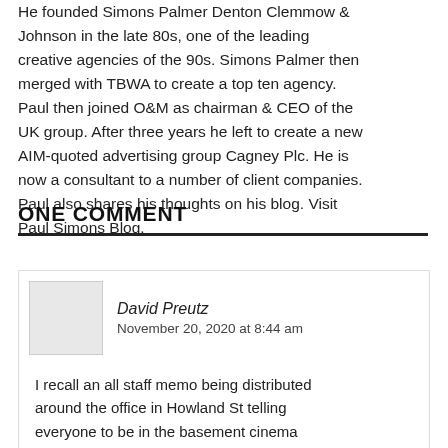He founded Simons Palmer Denton Clemmow & Johnson in the late 80s, one of the leading creative agencies of the 90s. Simons Palmer then merged with TBWA to create a top ten agency. Paul then joined O&M as chairman & CEO of the UK group. After three years he left to create a new AIM-quoted advertising group Cagney Plc. He is now a consultant to a number of client companies. Paul also shares his thoughts on his blog. Visit Paul Simons Blog.
ONE COMMENT
David Preutz
November 20, 2020 at 8:44 am
I recall an all staff memo being distributed around the office in Howland St telling everyone to be in the basement cinema at 4'ish. Frank gave a chat, shortly